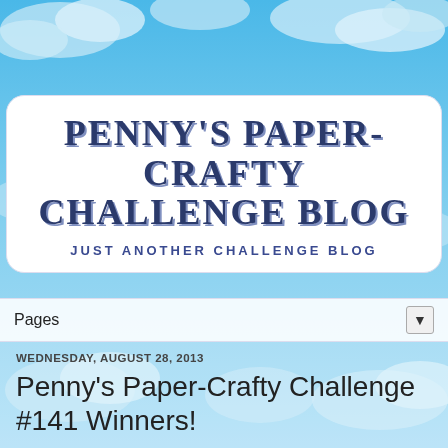[Figure (illustration): Blog header with sky and clouds background, white rounded box containing blog title and subtitle]
PENNY'S PAPER-CRAFTY CHALLENGE BLOG
JUST ANOTHER CHALLENGE BLOG
Pages ▼
WEDNESDAY, AUGUST 28, 2013
Penny's Paper-Crafty Challenge #141 Winners!
Hello there Penny's Friends!  Goodness, another week gone by!  They seem to fly by, don't they?  Well, lets land and get to our winners of Challenge 141!